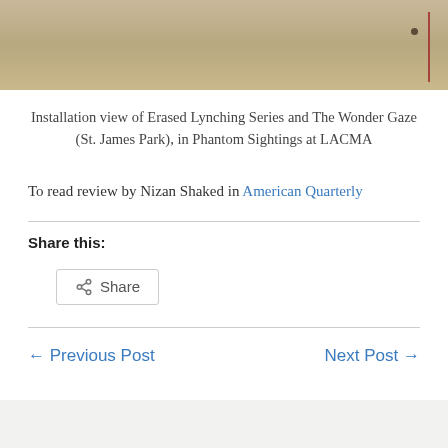[Figure (photo): Installation view showing wooden floor with a thin red vertical line and a small dark dot on the right side. Cropped at top of page.]
Installation view of Erased Lynching Series and The Wonder Gaze (St. James Park), in Phantom Sightings at LACMA
To read review by Nizan Shaked in American Quarterly
Share this:
Share
← Previous Post
Next Post →